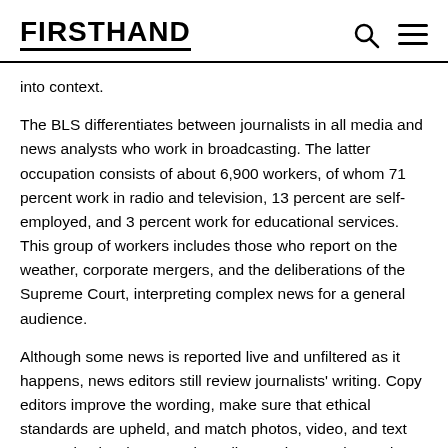FIRSTHAND
into context.
The BLS differentiates between journalists in all media and news analysts who work in broadcasting. The latter occupation consists of about 6,900 workers, of whom 71 percent work in radio and television, 13 percent are self-employed, and 3 percent work for educational services. This group of workers includes those who report on the weather, corporate mergers, and the deliberations of the Supreme Court, interpreting complex news for a general audience.
Although some news is reported live and unfiltered as it happens, news editors still review journalists' writing. Copy editors improve the wording, make sure that ethical standards are upheld, and match photos, video, and text appropriately. The executive editor assigns stories and decides which stories to run; the managing editor supervises the entire operation of the news department. Editors experience the same deadline pressures that journalists do